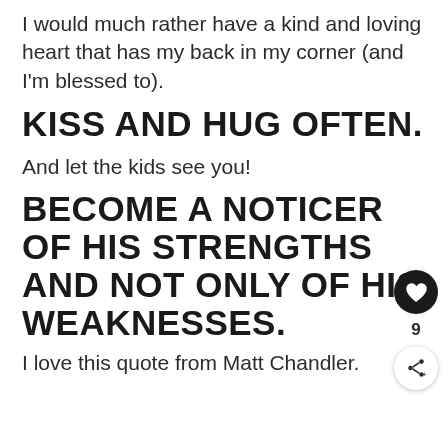I would much rather have a kind and loving heart that has my back in my corner (and I'm blessed to).
KISS AND HUG OFTEN.
And let the kids see you!
BECOME A NOTICER OF HIS STRENGTHS AND NOT ONLY OF HIS WEAKNESSES.
I love this quote from Matt Chandler.